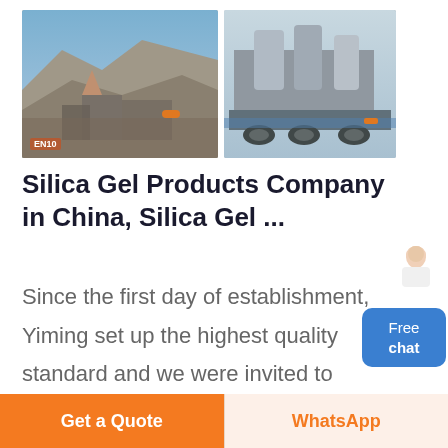[Figure (photo): Two photos side by side: left photo shows a quarry/mining site with industrial equipment; right photo shows a mobile industrial machine/truck with silos.]
Silica Gel Products Company in China, Silica Gel ...
Since the first day of establishment, Yiming set up the highest quality standard and we were invited to participate the formulation of China national standard for silica gel products like micro-bead silica gels, silica sol for industrial use, copper-
[Figure (illustration): Customer service representative figure with Free chat button]
Get a Quote
WhatsApp